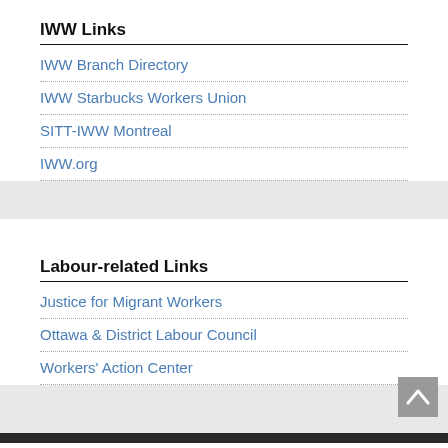IWW Links
IWW Branch Directory
IWW Starbucks Workers Union
SITT-IWW Montreal
IWW.org
Labour-related Links
Justice for Migrant Workers
Ottawa & District Labour Council
Workers' Action Center